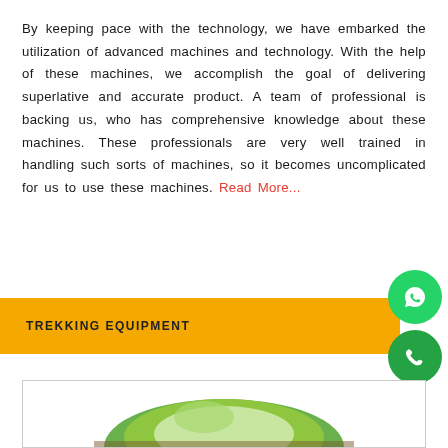By keeping pace with the technology, we have embarked the utilization of advanced machines and technology. With the help of these machines, we accomplish the goal of delivering superlative and accurate product. A team of professional is backing us, who has comprehensive knowledge about these machines. These professionals are very well trained in handling such sorts of machines, so it becomes uncomplicated for us to use these machines. Read More...
TREKKING EQUIPMENT
[Figure (photo): Green and white camping tent partially visible at bottom of the page]